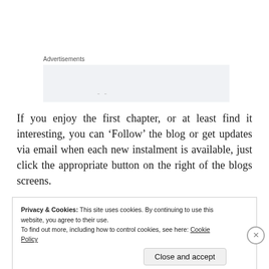Advertisements
[Figure (other): Advertisements placeholder box, light gray background]
If you enjoy the first chapter, or at least find it interesting, you can ‘Follow’ the blog or get updates via email when each new instalment is available, just click the appropriate button on the right of the blogs screens.
Privacy & Cookies: This site uses cookies. By continuing to use this website, you agree to their use.
To find out more, including how to control cookies, see here: Cookie Policy
Close and accept